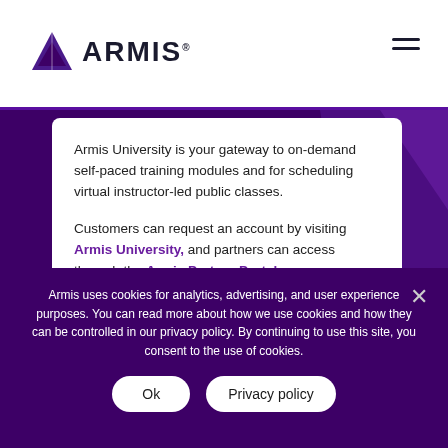ARMIS
Armis University is your gateway to on-demand self-paced training modules and for scheduling virtual instructor-led public classes.
Customers can request an account by visiting Armis University, and partners can access through the Armis Partner Portal.
Armis uses cookies for analytics, advertising, and user experience purposes. You can read more about how we use cookies and how they can be controlled in our privacy policy. By continuing to use this site, you consent to the use of cookies.
The leading asset intelligence platform, built to protect the connected enterprise...